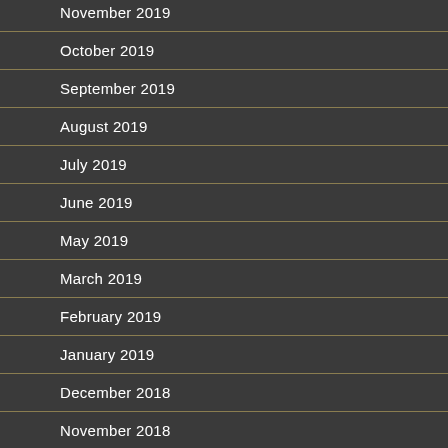November 2019
October 2019
September 2019
August 2019
July 2019
June 2019
May 2019
March 2019
February 2019
January 2019
December 2018
November 2018